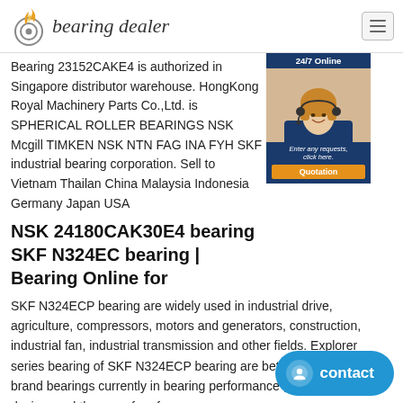bearing dealer
Bearing 23152CAKE4 is authorized in Singapore distributor warehouse. HongKong Royal Machinery Parts Co.,Ltd. is SPHERICAL ROLLER BEARINGS NSK Mcgill TIMKEN NSK NTN FAG INA FYH SKF industrial bearing corporation. Sell to Vietnam Thailand China Malaysia Indonesia Germany Japan USA
NSK 24180CAK30E4 bearing SKF N324EC bearing | Bearing Online for
SKF N324ECP bearing are widely used in industrial drive, agriculture, compressors, motors and generators, construction, industrial fan, industrial transmission and other fields. Explorer series bearing of SKF N324ECP bearing are better than any brand bearings currently in bearing performance , lifetime, design, and the use of performance.